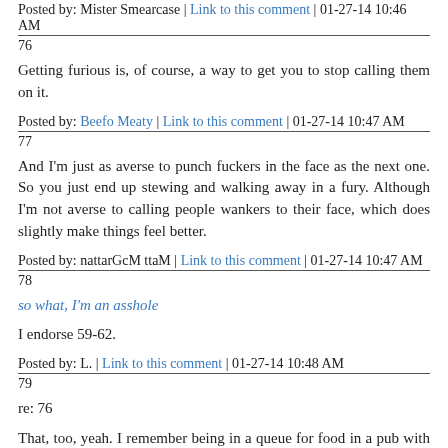Posted by: Mister Smearcase | Link to this comment | 01-27-14 10:46 AM
76
Getting furious is, of course, a way to get you to stop calling them on it.
Posted by: Beefo Meaty | Link to this comment | 01-27-14 10:47 AM
77
And I'm just as averse to punch fuckers in the face as the next one. So you just end up stewing and walking away in a fury. Although I'm not averse to calling people wankers to their face, which does slightly make things feel better.
Posted by: nattarGcM ttaM | Link to this comment | 01-27-14 10:47 AM
78
so what, I'm an asshole
I endorse 59-62.
Posted by: L. | Link to this comment | 01-27-14 10:48 AM
79
re: 76
That, too, yeah. I remember being in a queue for food in a pub with my old